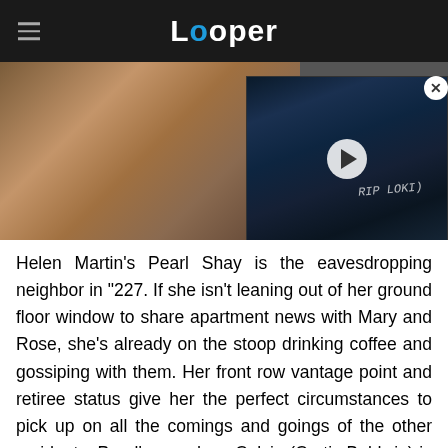Looper
[Figure (screenshot): Left: A person in a striped shirt partially visible. Right: An overlay video thumbnail showing a muscular person from behind with tattoo text 'RIP LOKI' and lightning, with a play button.]
Helen Martin's Pearl Shay is the eavesdropping neighbor in "227. If she isn't leaning out of her ground floor window to share apartment news with Mary and Rose, she's already on the stoop drinking coffee and gossiping with them. Her front row vantage point and retiree status give her the perfect circumstances to pick up on all the comings and goings of the other residents. Pearl's grandson Calvin (Curtis Baldwin) is also the love interest of Mary's daughter Brenda (Regina King in her first...